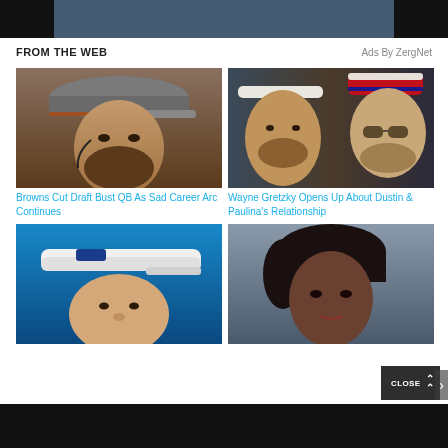[Figure (photo): Top banner: dark background with sports/basketball scene]
FROM THE WEB
Ads By ZergNet
[Figure (photo): Photo of bearded man in camo Cleveland Browns cap]
Browns Cut Draft Bust QB As Sad Career Arc Continues
[Figure (photo): Photo of two people: man with white cap and woman with sunglasses]
Wayne Gretzky Opens Up About Dustin & Paulina's Relationship
[Figure (photo): Photo of man in white New England Patriots visor]
[Figure (photo): Photo of woman with dark hair]
CLOSE